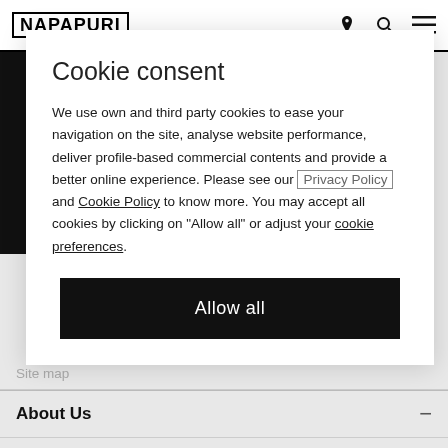NAPAPURI [logo with location, search, menu icons]
Cookie consent
We use own and third party cookies to ease your navigation on the site, analyse website performance, deliver profile-based commercial contents and provide a better online experience. Please see our Privacy Policy and Cookie Policy to know more. You may accept all cookies by clicking on "Allow all" or adjust your cookie preferences.
Allow all
Site map
About Us
Our Story
Sustainability